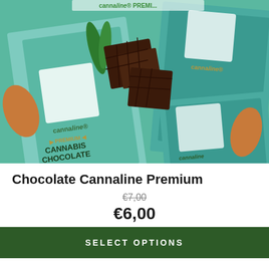[Figure (photo): Cannaline Premium Cannabis Chocolate bars arranged on a surface, showing teal/green packaging with cannabis leaf logo and broken dark chocolate pieces]
Chocolate Cannaline Premium
€7,00 (strikethrough old price) €6,00 (current price)
SELECT OPTIONS